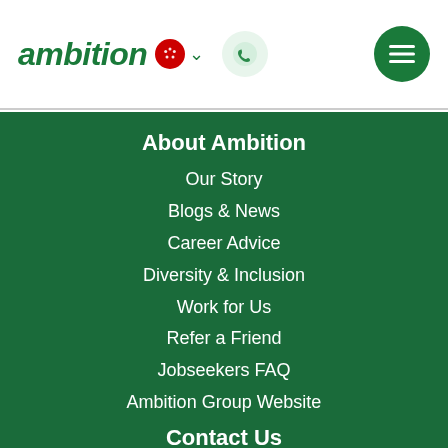ambition [HK flag] ˅ [phone icon] [menu icon]
About Ambition
Our Story
Blogs & News
Career Advice
Diversity & Inclusion
Work for Us
Refer a Friend
Jobseekers FAQ
Ambition Group Website
Contact Us
Hong Kong
Ambition Level 25, 28 Hennessy Rd, Wan Chai, Hong Kong